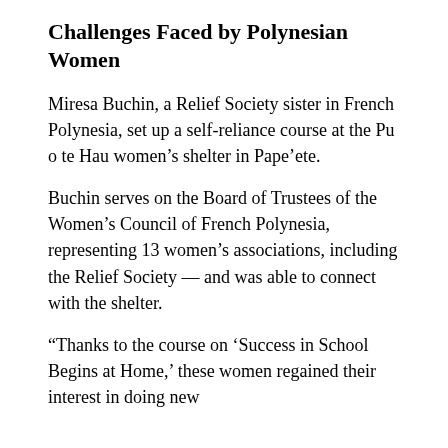Challenges Faced by Polynesian Women
Miresa Buchin, a Relief Society sister in French Polynesia, set up a self-reliance course at the Pu o te Hau women’s shelter in Pape’ete.
Buchin serves on the Board of Trustees of the Women’s Council of French Polynesia, representing 13 women’s associations, including the Relief Society — and was able to connect with the shelter.
“Thanks to the course on ‘Success in School Begins at Home,’ these women regained their interest in doing new…